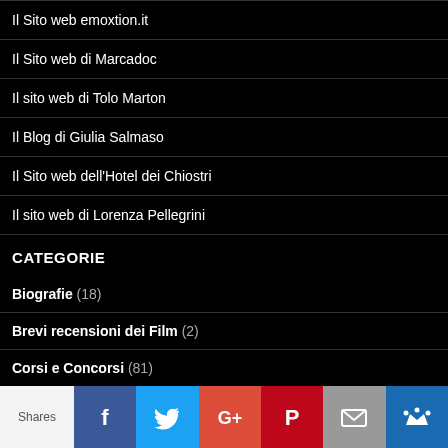Il Sito web emoxtion.it
Il Sito web di Marcadoc
Il sito web di Tolo Marton
Il Blog di Giulia Salmaso
Il Sito web dell'Hotel dei Chiostri
Il sito web di Lorenza Pellegrini
CATEGORIE
Biografie (18)
Brevi recensioni dei Film (2)
Corsi e Concorsi (81)
[Figure (infographic): Social share bar with Shares label, Facebook, Twitter, Google+, Pinterest, email, and crown icon buttons]